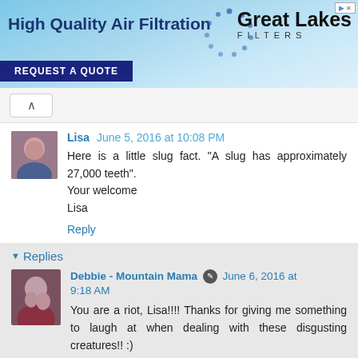[Figure (other): Advertisement banner for Great Lakes Filters - High Quality Air Filtration with REQUEST A QUOTE button]
Lisa  June 5, 2016 at 10:08 PM
Here is a little slug fact. "A slug has approximately 27,000 teeth".
Your welcome
Lisa
Reply
Replies
Debbie - Mountain Mama  June 6, 2016 at 9:18 AM
You are a riot, Lisa!!!! Thanks for giving me something to laugh at when dealing with these disgusting creatures!! :)